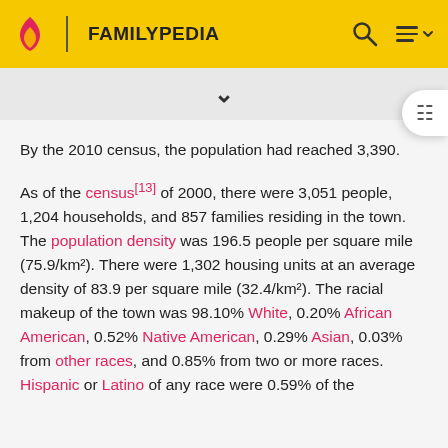FAMILYPEDIA
By the 2010 census, the population had reached 3,390.
As of the census[13] of 2000, there were 3,051 people, 1,204 households, and 857 families residing in the town. The population density was 196.5 people per square mile (75.9/km²). There were 1,302 housing units at an average density of 83.9 per square mile (32.4/km²). The racial makeup of the town was 98.10% White, 0.20% African American, 0.52% Native American, 0.29% Asian, 0.03% from other races, and 0.85% from two or more races. Hispanic or Latino of any race were 0.59% of the